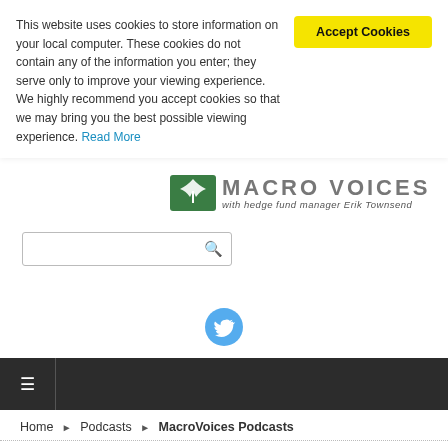This website uses cookies to store information on your local computer. These cookies do not contain any of the information you enter; they serve only to improve your viewing experience. We highly recommend you accept cookies so that we may bring you the best possible viewing experience. Read More
[Figure (logo): Macro Voices logo with tree icon and text 'MACRO VOICES with hedge fund manager Erik Townsend']
[Figure (screenshot): Search input box with magnifying glass icon]
[Figure (illustration): Twitter bird icon circle in light blue]
[Figure (other): Dark navigation bar with hamburger menu icon]
Home ▶ Podcasts ▶ MacroVoices Podcasts
Macro Voices Podcasts